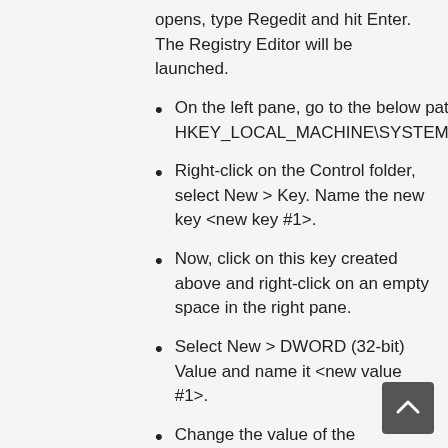opens, type Regedit and hit Enter. The Registry Editor will be launched.
On the left pane, go to the below path: HKEY_LOCAL_MACHINE\SYSTEM\CurrentControlSet\Control
Right-click on the Control folder, select New > Key. Name the new key <new key #1>.
Now, click on this key created above and right-click on an empty space in the right pane.
Select New > DWORD (32-bit) Value and name it <new value #1>.
Change the value of the